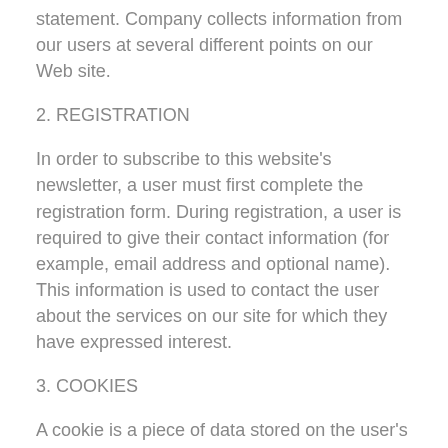statement. Company collects information from our users at several different points on our Web site.
2. REGISTRATION
In order to subscribe to this website's newsletter, a user must first complete the registration form. During registration, a user is required to give their contact information (for example, email address and optional name). This information is used to contact the user about the services on our site for which they have expressed interest.
3. COOKIES
A cookie is a piece of data stored on the user's hard drive containing non-contact information about the user. Cookies can also enable us to track and target the interests